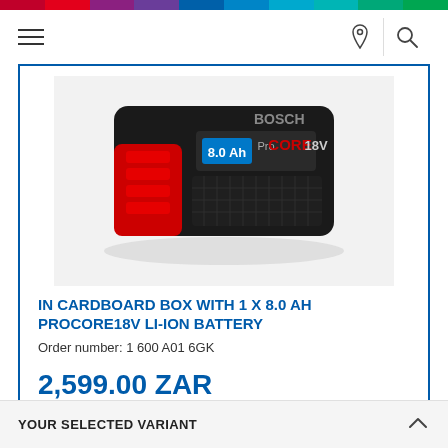[Figure (photo): Bosch ProCore18V 8.0Ah Li-ion battery product photo on dark background]
IN CARDBOARD BOX WITH 1 X 8.0 AH PROCORE18V LI-ION BATTERY
Order number: 1 600 A01 6GK
2,599.00 ZAR
Recommended retail price including VAT
Available in 2 onlineshop(s)
YOUR SELECTED VARIANT